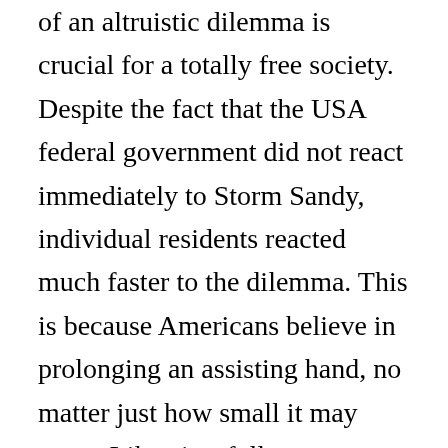of an altruistic dilemma is crucial for a totally free society. Despite the fact that the USA federal government did not react immediately to Storm Sandy, individual residents reacted much faster to the dilemma. This is because Americans believe in prolonging an assisting hand, no matter just how small it may seem. Likewise, full news protection can promote empathy as well as freedom. If more media electrical outlets were covering information occasions, they can promote free speech and